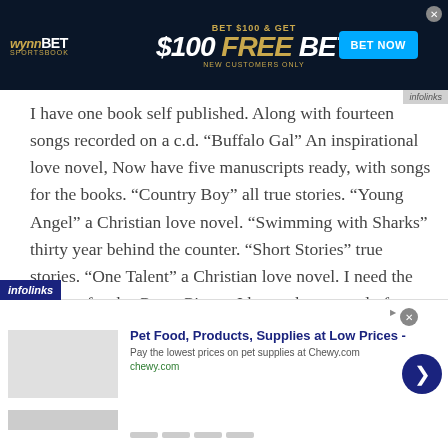[Figure (screenshot): WynnBET Sportsbook advertisement banner: 'BET $100 & GET $100 FREE BET NEW CUSTOMERS ONLY' with BET NOW button and football player image]
I have one book self published. Along with fourteen songs recorded on a c.d. “Buffalo Gal” An inspirational love novel, Now have five manuscripts ready, with songs for the books. “Country Boy” all true stories. “Young Angel” a Christian love novel. “Swimming with Sharks” thirty year behind the counter. “Short Stories” true stories. “One Talent” a Christian love novel. I need the address for the Grant Givers. I know that not only for
[Figure (screenshot): Bottom advertisement: Pet Food, Products, Supplies at Low Prices - chewy.com]